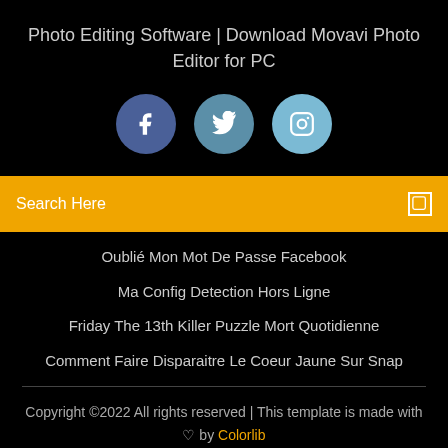Photo Editing Software | Download Movavi Photo Editor for PC
[Figure (infographic): Three social media icons: Facebook (dark blue circle with f), Twitter (medium blue circle with bird), Instagram (light blue circle with camera icon)]
Search Here
Oublié Mon Mot De Passe Facebook
Ma Config Detection Hors Ligne
Friday The 13th Killer Puzzle Mort Quotidienne
Comment Faire Disparaitre Le Coeur Jaune Sur Snap
Copyright ©2022 All rights reserved | This template is made with ♡ by Colorlib